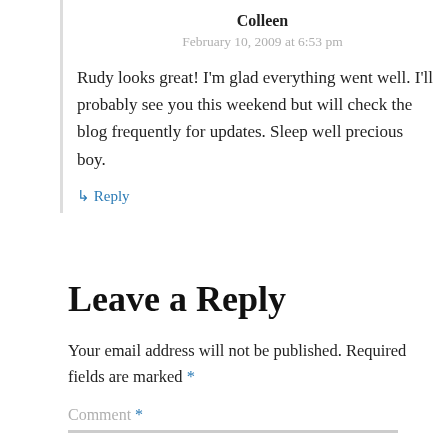Colleen
February 10, 2009 at 6:53 pm
Rudy looks great! I'm glad everything went well. I'll probably see you this weekend but will check the blog frequently for updates. Sleep well precious boy.
↳ Reply
Leave a Reply
Your email address will not be published. Required fields are marked *
Comment *